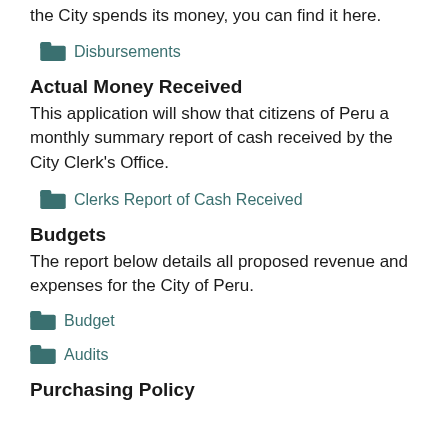the City spends its money, you can find it here.
Disbursements
Actual Money Received
This application will show that citizens of Peru a monthly summary report of cash received by the City Clerk's Office.
Clerks Report of Cash Received
Budgets
The report below details all proposed revenue and expenses for the City of Peru.
Budget
Audits
Purchasing Policy